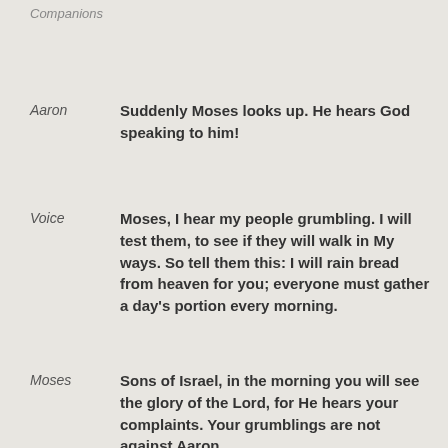Companions
Aaron	Suddenly Moses looks up. He hears God speaking to him!
Voice	Moses, I hear my people grumbling. I will test them, to see if they will walk in My ways. So tell them this: I will rain bread from heaven for you; everyone must gather a day's portion every morning.
Moses	Sons of Israel, in the morning you will see the glory of the Lord, for He hears your complaints. Your grumblings are not against Aaron